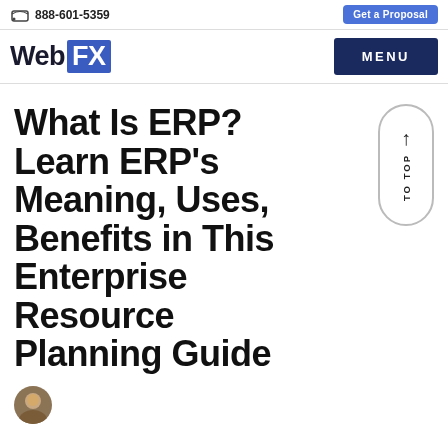888-601-5359   Get a Proposal
WebFX   MENU
What Is ERP? Learn ERP's Meaning, Uses, Benefits in This Enterprise Resource Planning Guide
[Figure (other): Author avatar portrait photo (circular crop)]